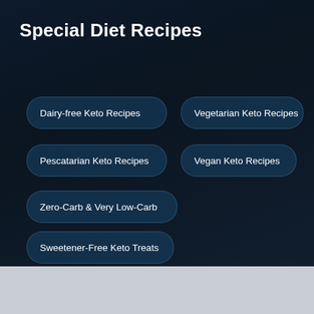Special Diet Recipes
Dairy-free Keto Recipes
Vegetarian Keto Recipes
Pescatarian Keto Recipes
Vegan Keto Recipes
Zero-Carb & Very Low-Carb
Sweetener-Free Keto Treats
Fermented Foods & Gut-Healthy Recipes
Offal & Organ Meats
Recipes for Intermittent Fasting (OMAD & TMAD)
Recipes for the Fat Fast
Whole 30 Keto Recipes